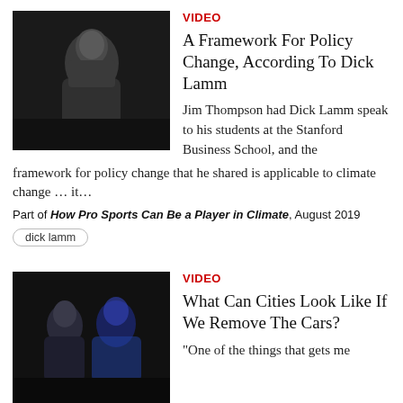[Figure (photo): Man sitting in chair, speaking, wearing glasses and a gray jacket]
VIDEO
A Framework For Policy Change, According To Dick Lamm
Jim Thompson had Dick Lamm speak to his students at the Stanford Business School, and the framework for policy change that he shared is applicable to climate change … it…
Part of How Pro Sports Can Be a Player in Climate, August 2019
dick lamm
[Figure (photo): Two people on stage, a woman and a man in a blue jacket]
VIDEO
What Can Cities Look Like If We Remove The Cars?
"One of the things that gets me